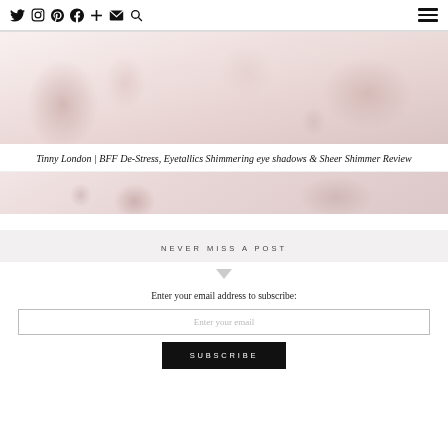Social icons: Twitter, Instagram, Pinterest, Facebook, Plus, Email, Search | Hamburger menu
[Figure (photo): Flat lay of cosmetic products – tubes, jars and compacts of makeup in pink and nude tones on white background (top portion)]
Tinny London | BFF De-Stress, Eyetallics Shimmering eye shadows & Sheer Shimmer Review
[Figure (photo): Flat lay of cosmetic products – blush compacts and makeup products in pink and mauve tones (bottom portion)]
NEVER MISS A POST
Enter your email address to subscribe:
Enter your email
SUBSCRIBE